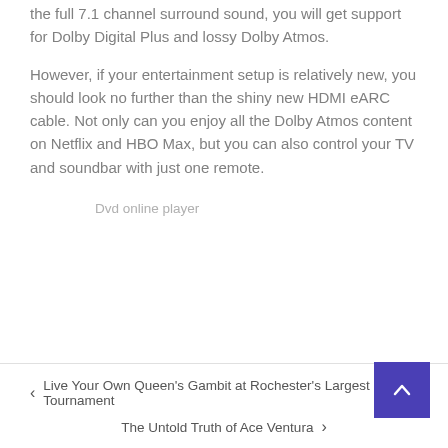the full 7.1 channel surround sound, you will get support for Dolby Digital Plus and lossy Dolby Atmos.
However, if your entertainment setup is relatively new, you should look no further than the shiny new HDMI eARC cable. Not only can you enjoy all the Dolby Atmos content on Netflix and HBO Max, but you can also control your TV and soundbar with just one remote.
Dvd online player
< Live Your Own Queen's Gambit at Rochester's Largest Tournament
The Untold Truth of Ace Ventura >